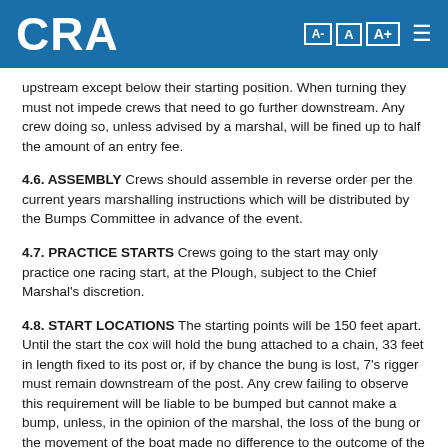CRA
upstream except below their starting position. When turning they must not impede crews that need to go further downstream. Any crew doing so, unless advised by a marshal, will be fined up to half the amount of an entry fee.
4.6. ASSEMBLY Crews should assemble in reverse order per the current years marshalling instructions which will be distributed by the Bumps Committee in advance of the event.
4.7. PRACTICE STARTS Crews going to the start may only practice one racing start, at the Plough, subject to the Chief Marshal's discretion.
4.8. START LOCATIONS The starting points will be 150 feet apart. Until the start the cox will hold the bung attached to a chain, 33 feet in length fixed to its post or, if by chance the bung is lost, 7's rigger must remain downstream of the post. Any crew failing to observe this requirement will be liable to be bumped but cannot make a bump, unless, in the opinion of the marshal, the loss of the bung or the movement of the boat made no difference to the outcome of the race. The Club may be fined up to the amount of an entry fee. (NB pushing out poles are 14ft in length)